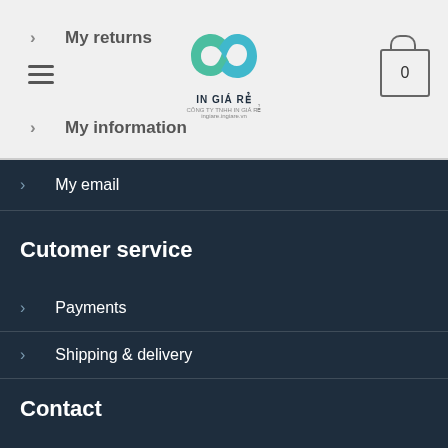My returns | My information
My email
Cutomer service
Payments
Shipping & delivery
Returns
Support
Contact